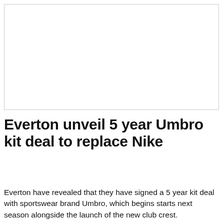[Figure (photo): Large image placeholder — white rectangle with light grey border, no visible photo content]
Everton unveil 5 year Umbro kit deal to replace Nike
Everton have revealed that they have signed a 5 year kit deal with sportswear brand Umbro, which begins starts next season alongside the launch of the new club crest.